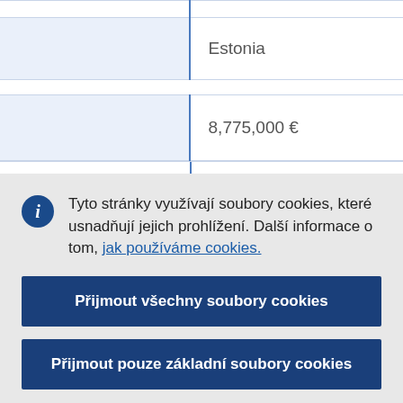|  | Estonia |
|  | 8,775,000 € |
Tyto stránky využívají soubory cookies, které usnadňují jejich prohlížení. Další informace o tom, jak používáme cookies.
Přijmout všechny soubory cookies
Přijmout pouze základní soubory cookies